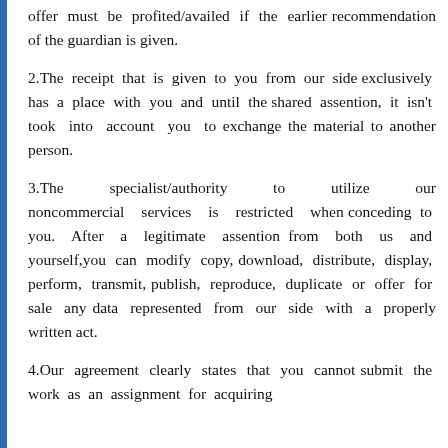offer must be profited/availed if the earlier recommendation of the guardian is given.
2.The receipt that is given to you from our side exclusively has a place with you and until the shared assention, it isn't took into account you to exchange the material to another person.
3.The specialist/authority to utilize our noncommercial services is restricted when conceding to you. After a legitimate assention from both us and yourself,you can modify copy, download, distribute, display, perform, transmit, publish, reproduce, duplicate or offer for sale any data represented from our side with a properly written act.
4.Our agreement clearly states that you cannot submit the work as an assignment for acquiring